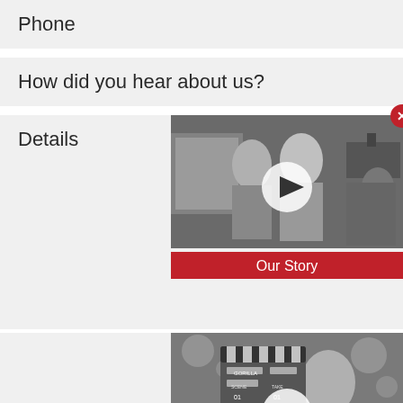Phone
How did you hear about us?
Details
[Figure (photo): Black and white photo of two women being filmed by a camera operator, with a play button overlay. Red banner at bottom reads 'Our Story'. Close button (X) in top right corner.]
[Figure (photo): Black and white photo of a smiling woman holding a clapperboard, with a play button overlay. Red banner at bottom reads 'What makes us different?']
[Figure (other): Accessibility icon (person in circle)]